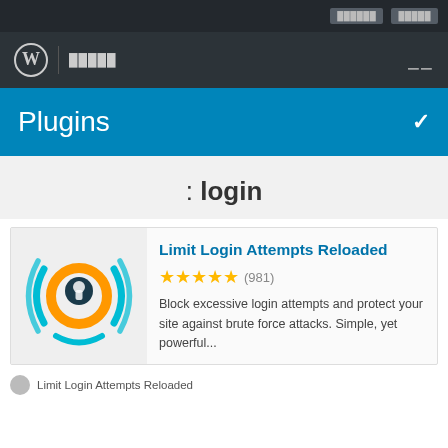WordPress admin navigation bar with logo and site name
Plugins
: login
Limit Login Attempts Reloaded — 5 stars (981) — Block excessive login attempts and protect your site against brute force attacks. Simple, yet powerful...